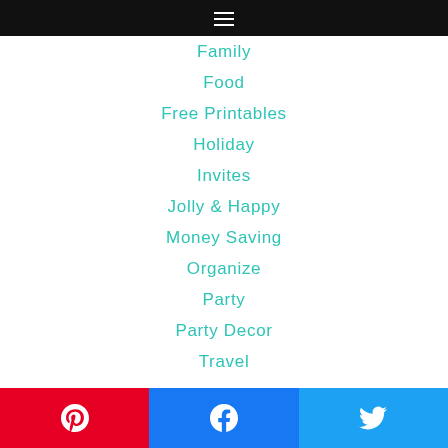☰ (hamburger menu)
Family
Food
Free Printables
Holiday
Invites
Jolly & Happy
Money Saving
Organize
Party
Party Decor
Travel
Pinterest | Facebook | Twitter share buttons